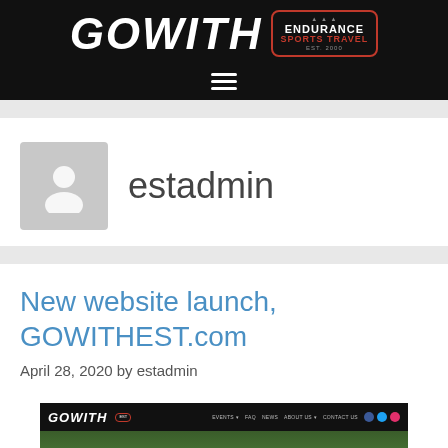[Figure (logo): GOWITH Endurance Sports Travel logo on black header with hamburger menu]
estadmin
New website launch, GOWITHEST.com
April 28, 2020 by estadmin
[Figure (screenshot): Screenshot of GOWITHEST.com website showing navigation bar and athlete photo]